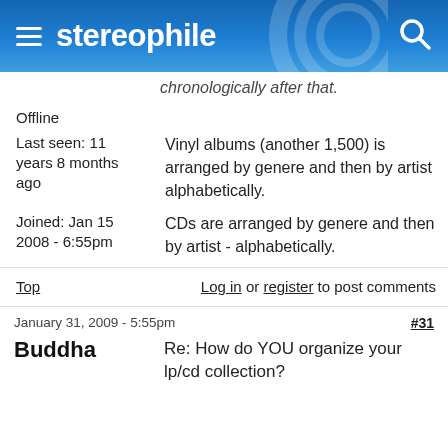stereophile
chronologically after that.
Offline
Vinyl albums (another 1,500) is arranged by genere and then by artist alphabetically.
Last seen: 11 years 8 months ago
CDs are arranged by genere and then by artist - alphabetically.
Joined: Jan 15 2008 - 6:55pm
Top
Log in or register to post comments
January 31, 2009 - 5:55pm
#31
Buddha
Re: How do YOU organize your lp/cd collection?